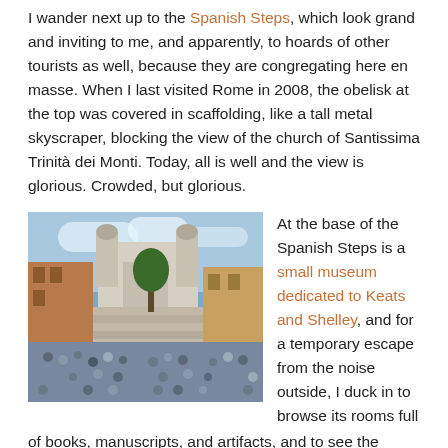I wander next up to the Spanish Steps, which look grand and inviting to me, and apparently, to hoards of other tourists as well, because they are congregating here en masse. When I last visited Rome in 2008, the obelisk at the top was covered in scaffolding, like a tall metal skyscraper, blocking the view of the church of Santissima Trinità dei Monti. Today, all is well and the view is glorious. Crowded, but glorious.
[Figure (photo): Photo of the Spanish Steps in Rome crowded with tourists, with the church of Santissima Trinità dei Monti visible at the top.]
At the base of the Spanish Steps is a small museum dedicated to Keats and Shelley, and for a temporary escape from the noise outside, I duck in to browse its rooms full of books, manuscripts, and artifacts, and to see the place where Keats died of consumption in 1821 at the age of 25.